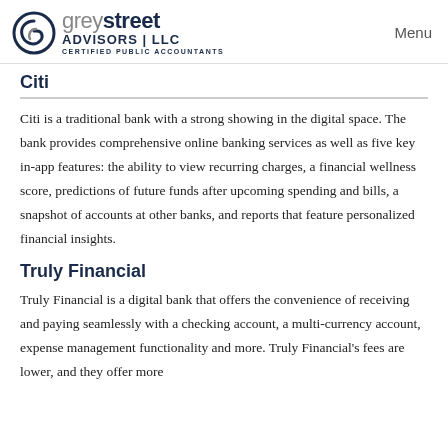grey street ADVISORS | LLC CERTIFIED PUBLIC ACCOUNTANTS — Menu
Citi
Citi is a traditional bank with a strong showing in the digital space. The bank provides comprehensive online banking services as well as five key in-app features: the ability to view recurring charges, a financial wellness score, predictions of future funds after upcoming spending and bills, a snapshot of accounts at other banks, and reports that feature personalized financial insights.
Truly Financial
Truly Financial is a digital bank that offers the convenience of receiving and paying seamlessly with a checking account, a multi-currency account, expense management functionality and more. Truly Financial's fees are lower, and they offer more